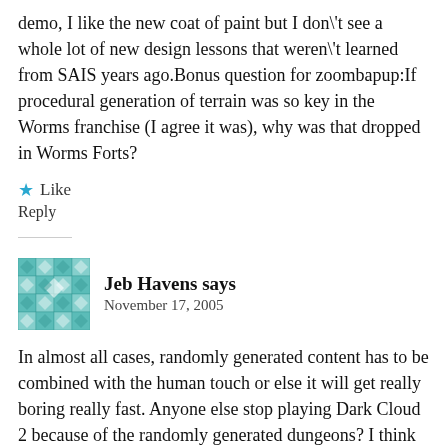demo, I like the new coat of paint but I don't see a whole lot of new design lessons that weren't learned from SAIS years ago.Bonus question for zoombapup:If procedural generation of terrain was so key in the Worms franchise (I agree it was), why was that dropped in Worms Forts?
★ Like
Reply
Jeb Havens says
November 17, 2005
In almost all cases, randomly generated content has to be combined with the human touch or else it will get really boring really fast. Anyone else stop playing Dark Cloud 2 because of the randomly generated dungeons? I think Michael Mateas said it best at the Future Play Conference last month (I'll have to paraphrase), when